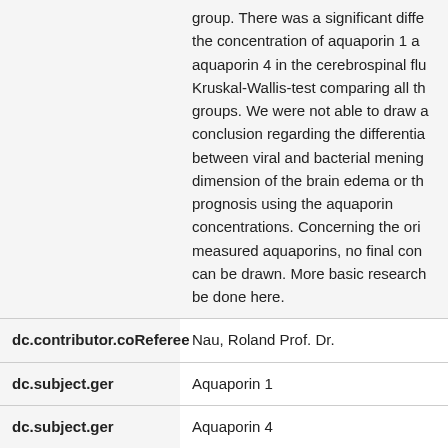group. There was a significant difference in the concentration of aquaporin 1 and aquaporin 4 in the cerebrospinal fluid Kruskal-Wallis-test comparing all the groups. We were not able to draw a conclusion regarding the differentiation between viral and bacterial meningitis dimension of the brain edema or the prognosis using the aquaporin concentrations. Concerning the origin of measured aquaporins, no final conclusion can be drawn. More basic research has to be done here.
| dc.contributor.coReferee | Nau, Roland Prof. Dr. |
| dc.subject.ger | Aquaporin 1 |
| dc.subject.ger | Aquaporin 4 |
| dc.subject.ger | Hirnödem |
| dc.subject.ger | Bakterielle Meningitis |